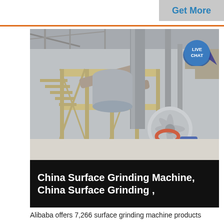Get More
[Figure (photo): Industrial surface grinding machine facility interior showing heavy machinery with yellow metal platforms, conveyor belts, staircases, large pipe column, dusty environment, and a centrifugal fan/blower unit with red and blue components in the foreground.]
China Surface Grinding Machine, China Surface Grinding ,
Alibaba offers 7,266 surface grinding machine products